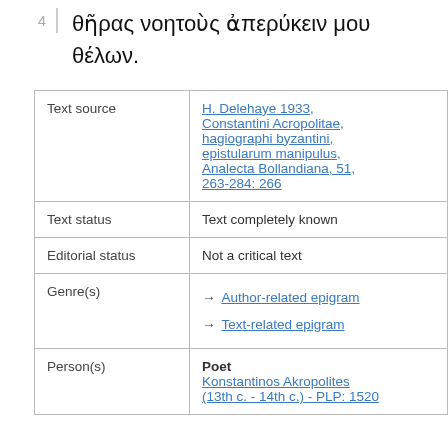4  θῆρας νοητοὺς ἀπερύκειν μου θέλων.
|  |  |
| --- | --- |
| Text source | H. Delehaye 1933, Constantini Acropolitae, hagiographi byzantini, epistularum manipulus, Analecta Bollandiana, 51, 263-284: 266 |
| Text status | Text completely known |
| Editorial status | Not a critical text |
| Genre(s) | → Author-related epigram
→ Text-related epigram |
| Person(s) | Poet
Konstantinos Akropolites (13th c. - 14th c.) - PLP: 1520 |